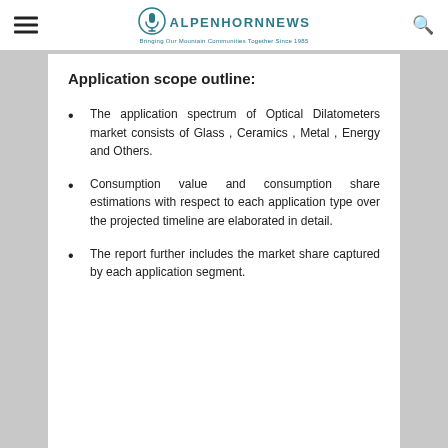ALPENHORNNEWS — Bringing Our Mountain Communities Together Since 1985
Application scope outline:
The application spectrum of Optical Dilatometers market consists of Glass , Ceramics , Metal , Energy and Others.
Consumption value and consumption share estimations with respect to each application type over the projected timeline are elaborated in detail.
The report further includes the market share captured by each application segment.